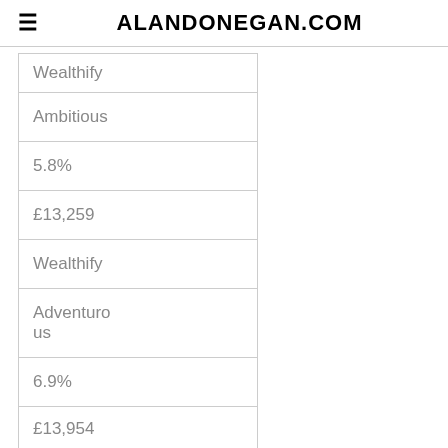ALANDONEGAN.COM
| Wealthify |
| Ambitious |
| 5.8% |
| £13,259 |
| Wealthify |
| Adventurous |
| 6.9% |
| £13,954 |